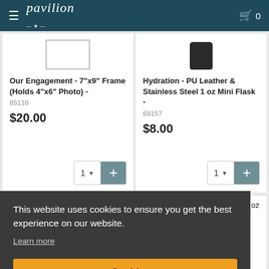pavilion  0
Our Engagement - 7"x9" Frame (Holds 4"x6" Photo) - 85116
$20.00
Hydration - PU Leather & Stainless Steel 1 oz Mini Flask - 68157
$8.00
This website uses cookies to ensure you get the best experience on our website.
Learn more
Got it!
oz
$22.50